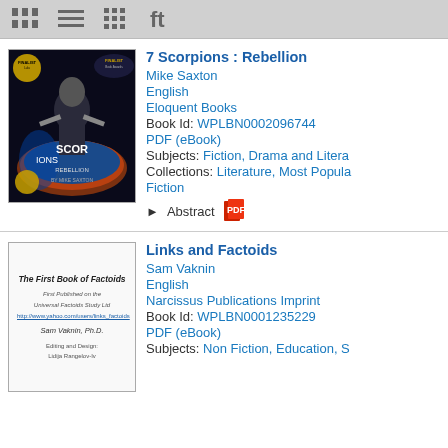[Figure (screenshot): Toolbar with list/grid/filter icons at the top of a digital library interface]
[Figure (photo): Book cover of '7 Scorpions: Rebellion' by Mike Saxton, showing a sci-fi action scene with a figure holding weapons, Finalist badge visible]
7 Scorpions : Rebellion
Mike Saxton
English
Eloquent Books
Book Id: WPLBN0002096744
PDF (eBook)
Subjects: Fiction, Drama and Litera...
Collections: Literature, Most Popula... Fiction
Abstract
[Figure (photo): Book cover of 'Links and Factoids' by Sam Vaknin, text-based cover showing 'The First Book of Factoids']
Links and Factoids
Sam Vaknin
English
Narcissus Publications Imprint
Book Id: WPLBN0001235229
PDF (eBook)
Subjects: Non Fiction, Education, S...